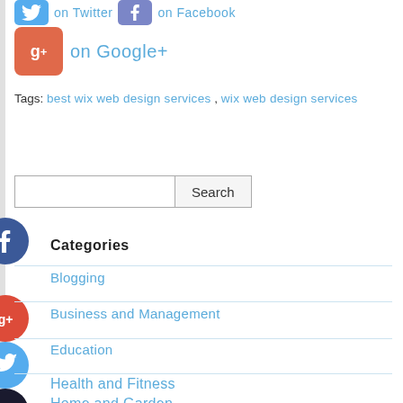on Twitter  on Facebook
on Google+
Tags: best wix web design services , wix web design services
Search
Categories
Blogging
Business and Management
Education
Health and Fitness
Home and Garden